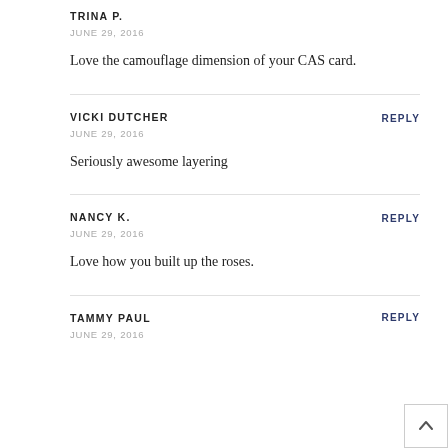TRINA P.
JUNE 29, 2016
Love the camouflage dimension of your CAS card.
REPLY
VICKI DUTCHER
JUNE 29, 2016
Seriously awesome layering
REPLY
NANCY K.
JUNE 29, 2016
Love how you built up the roses.
REPLY
TAMMY PAUL
JUNE 29, 2016